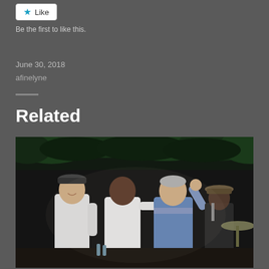Like
Be the first to like this.
June 30, 2018
afinelyne
Related
[Figure (photo): Four people on a stage, three in the foreground standing close together — one in a white long-sleeve shirt with a cap, one in a white t-shirt, one in a blue short-sleeve shirt with grey hair raising a hand — and a fourth person in the background wearing a hat near a cymbal. Dark foliage visible in the background.]